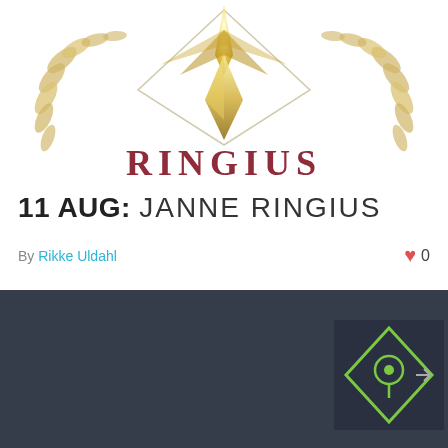[Figure (logo): Ringius decorative logo with golden laurel wreath, crystal/flame motif at top, and 'RINGIUS' text in dark red serif font arranged in an arc below the crest]
11 AUG: JANNE RINGIUS
By Rikke Uldahl   ♥ 0
[Figure (map): Dark map widget showing a diamond-shaped map icon with a location pin, green outline on dark background]